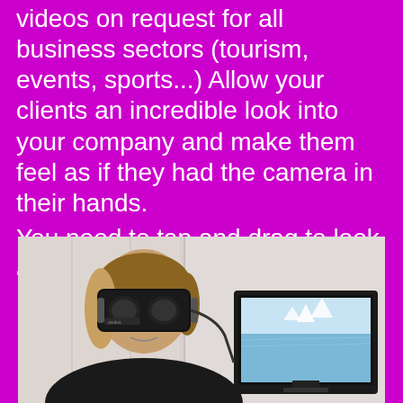videos on request for all business sectors (tourism, events, sports...) Allow your clients an incredible look into your company and make them feel as if they had the camera in their hands.
You need to tap and drag to look around.
[Figure (photo): A woman wearing an Oculus VR headset, with a monitor behind her showing a sailing boat scene.]